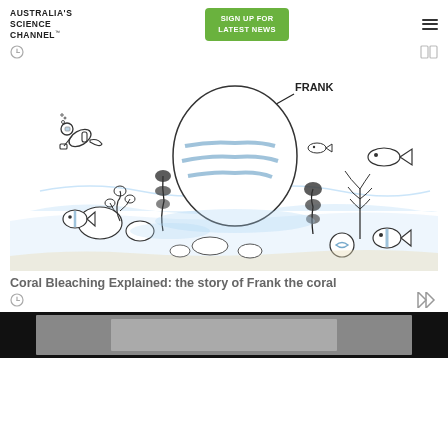AUSTRALIA'S SCIENCE CHANNEL™
SIGN UP FOR LATEST NEWS
[Figure (illustration): Line illustration of an underwater coral reef scene. A scuba diver is shown on the left. A large round coral labeled 'FRANK' with an arrow is in the center. Various smaller corals, fish, and sea plants surround it. Blue shading accents the water and some coral features.]
Coral Bleaching Explained: the story of Frank the coral
[Figure (screenshot): Thumbnail of a video at the bottom of the page, dark background with a partial image visible inside.]